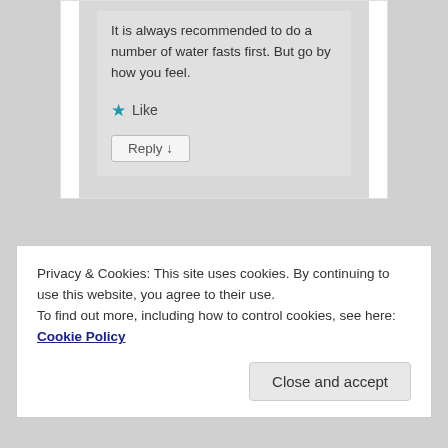It is always recommended to do a number of water fasts first. But go by how you feel.
★ Like
Reply ↓
Privacy & Cookies: This site uses cookies. By continuing to use this website, you agree to their use.
To find out more, including how to control cookies, see here: Cookie Policy
Close and accept